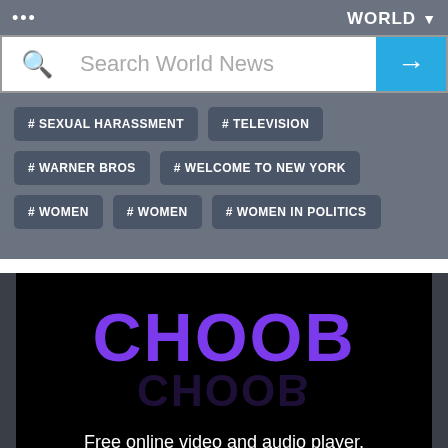...
WORLD
Search World News
# SEXUAL HARASSMENT
# TELEVISION
# WARNER BROS
# WELCOME TO NEW YORK
# WOMEN
# WOMEN
# WOMEN IN POLITICS
[Figure (logo): CHOOB logo with purple text on black background, with reflection effect underneath]
Free online video and audio player, meme generator and photo editor